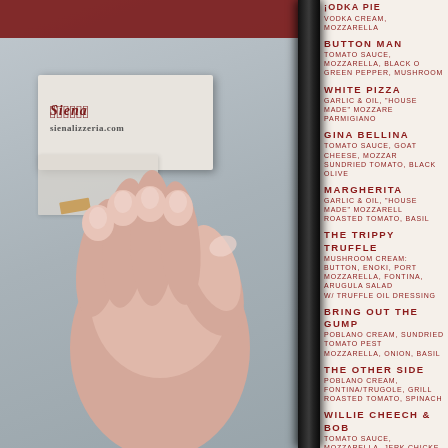[Figure (photo): Photo of a hand holding open a restaurant pizza menu. Left side shows a table with a small menu card with a logo. A black menu spine/binder runs vertically. Right side shows the white menu page with red text listing pizza items.]
VODKA PIE
VODKA CREAM, MOZZARELLA
BUTTON MAN
TOMATO SAUCE, MOZZARELLA, BLACK OLIVE, GREEN PEPPER, MUSHROOM
WHITE PIZZA
GARLIC & OIL, "HOUSE MADE" MOZZARELLA, PARMIGIANO
GINA BELLINA
TOMATO SAUCE, GOAT CHEESE, MOZZARELLA, SUNDRIED TOMATO, BLACK OLIVE
MARGHERITA
GARLIC & OIL, "HOUSE MADE" MOZZARELLA, ROASTED TOMATO, BASIL
THE TRIPPY TRUFFLE
MUSHROOM CREAM: BUTTON, ENOKI, PORTOBELLO, MOZZARELLA, FONTINA, ARUGULA SALAD W/ TRUFFLE OIL DRESSING
BRING OUT THE GUMP
POBLANO CREAM, SUNDRIED TOMATO PESTO, MOZZARELLA, ONION, BASIL
THE OTHER SIDE
POBLANO CREAM, FONTINA/TRUGOLE, GRILLED ROASTED TOMATO, SPINACH
WILLIE CHEECH & BOB
TOMATO SAUCE, MOZZARELLA, JERK CHICKEN, MANGO CHUTNEY, HOT JALAPENO
THE LOMBARDI 'ALDO'S FAVORITE'
TOMATO SAUCE, GRANDMA'S MEATBALLS, RICOTTA
THE MEMPHIS
BBQ SAUCE, BBQ PULLED PORK, MOZZARELLA, RED ONION, COLE SLAW
MR. T REX
TOMATO SAUCE, MOZZARELLA, PEPPERONI, SAUSAGE